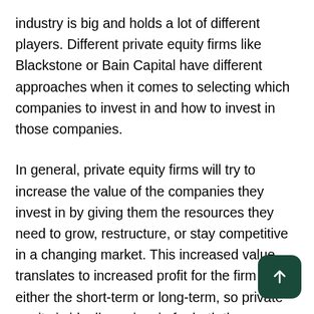industry is big and holds a lot of different players. Different private equity firms like Blackstone or Bain Capital have different approaches when it comes to selecting which companies to invest in and how to invest in those companies.
In general, private equity firms will try to increase the value of the companies they invest in by giving them the resources they need to grow, restructure, or stay competitive in a changing market. This increased value translates to increased profit for the firm in either the short-term or long-term, so private equity is ideally a win-win for both the company and investment firm.